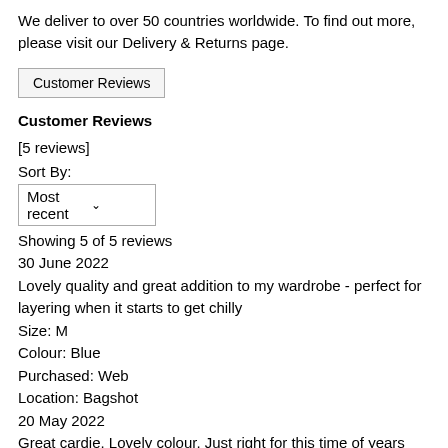We deliver to over 50 countries worldwide. To find out more, please visit our Delivery & Returns page.
Customer Reviews
Customer Reviews
[5 reviews]
Sort By:
Most recent
Showing 5 of 5 reviews
30 June 2022
Lovely quality and great addition to my wardrobe - perfect for layering when it starts to get chilly
Size: M
Colour: Blue
Purchased: Web
Location: Bagshot
20 May 2022
Great cardie. Lovely colour. Just right for this time of years
Size: M
Colour: Blue
Purchased: Web